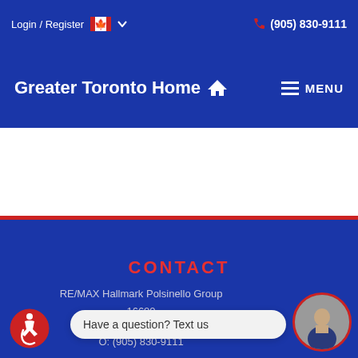Login / Register  (905) 830-9111
Greater Toronto Home
MENU
CONTACT
RE/MAX Hallmark Polsinello Group
16600
N
O: (905) 830-9111
Have a question? Text us
[Figure (illustration): Accessibility icon (wheelchair symbol in red circle)]
[Figure (photo): Circular portrait photo of a man in a suit, with red border]